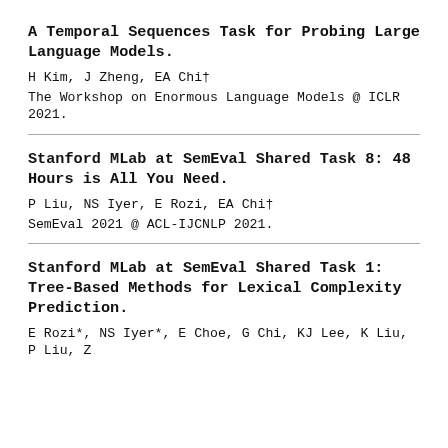A Temporal Sequences Task for Probing Large Language Models.
H Kim, J Zheng, EA Chi†
The Workshop on Enormous Language Models @ ICLR 2021.
Stanford MLab at SemEval Shared Task 8: 48 Hours is All You Need.
P Liu, NS Iyer, E Rozi, EA Chi†
SemEval 2021 @ ACL-IJCNLP 2021.
Stanford MLab at SemEval Shared Task 1: Tree-Based Methods for Lexical Complexity Prediction.
E Rozi*, NS Iyer*, E Choe, G Chi, KJ Lee, K Liu, P Liu, Z